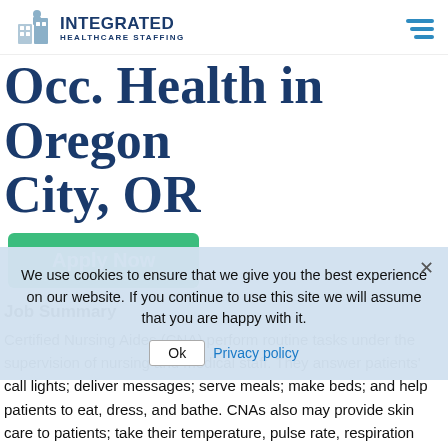INTEGRATED HEALTHCARE STAFFING
Occ. Health in Oregon City, OR
Apply Now
Job Summary
Certified Nursing Aides (CNA) perform routine tasks under the supervision of nursing and medical staff. They answer patients' call lights; deliver messages; serve meals; make beds; and help patients to eat, dress, and bathe. CNAs also may provide skin care to patients; take their temperature, pulse rate, respiration rate, and blood pressure; and help them to get into and out of bed and walk. Aides observe patients; physical, mental, and emotional conditions and report any change to the nursing or medical staff. CNAs employed in nursing care facilities often are the principal caregivers, having far more contact with residents than do other members of the staff. Because some residents may stay le
We use cookies to ensure that we give you the best experience on our website. If you continue to use this site we will assume that you are happy with it.
Ok  Privacy policy